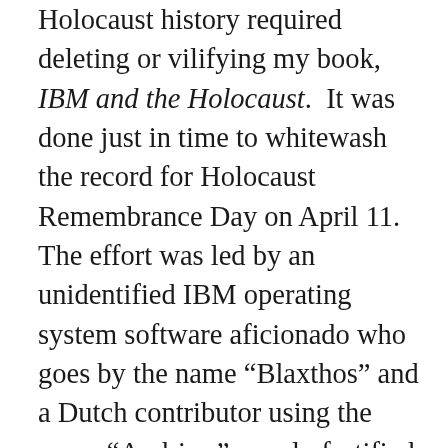Holocaust history required deleting or vilifying my book, IBM and the Holocaust. It was done just in time to whitewash the record for Holocaust Remembrance Day on April 11. The effort was led by an unidentified IBM operating system software aficionado who goes by the name “Blaxthos” and a Dutch contributor using the name “Andries,” openly fortified by official IBM corporate archivist Paul Lasewicz using his real name, and others. Ten years ago, Lasewicz was directly involved in the day-to-day blocking of my access to IBM’s Holocaust-era documents both in the United States and Germany while this book was being